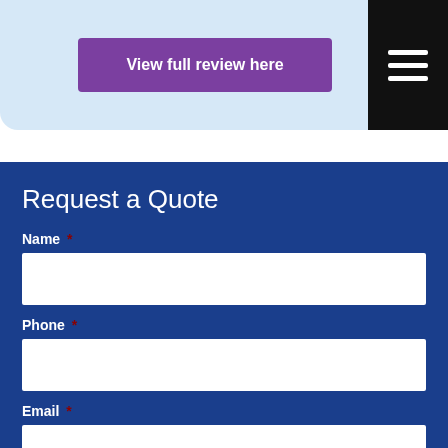[Figure (screenshot): Light blue banner with a purple 'View full review here' button and a black hamburger menu icon in the top right corner]
Request a Quote
Name *
Phone *
Email *